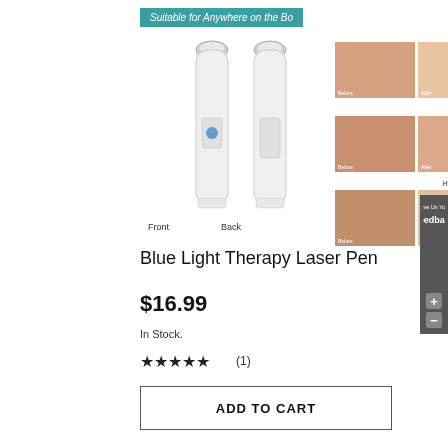Suitable for Anywhere on the Bo
[Figure (photo): Two laser pen devices shown Front and Back views, white with silver tops]
[Figure (photo): Before and after comparison photos for Acne Scars, Burn Scars, and Hypertrophic Scars]
Blue Light Therapy Laser Pen
$16.99
In Stock.
★★★★★ (1)
ADD TO CART